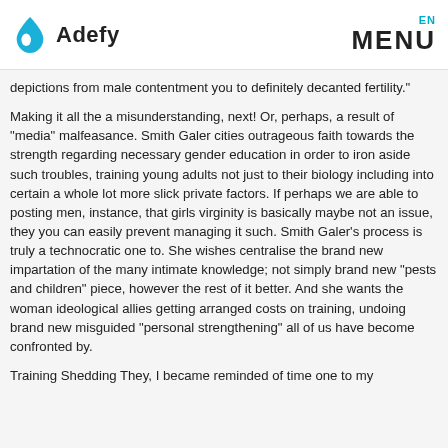Adefy | EN MENU
depictions from male contentment you to definitely decanted fertility."
Making it all the a misunderstanding, next! Or, perhaps, a result of "media" malfeasance. Smith Galer cities outrageous faith towards the strength regarding necessary gender education in order to iron aside such troubles, training young adults not just to their biology including into certain a whole lot more slick private factors. If perhaps we are able to posting men, instance, that girls virginity is basically maybe not an issue, they you can easily prevent managing it such. Smith Galer’s process is truly a technocratic one to. She wishes centralise the brand new impartation of the many intimate knowledge; not simply brand new “pests and children” piece, however the rest of it better. And she wants the woman ideological allies getting arranged costs on training, undoing brand new misguided “personal strengthening” all of us have become confronted by.
Training Shedding They, I became reminded of time one to my